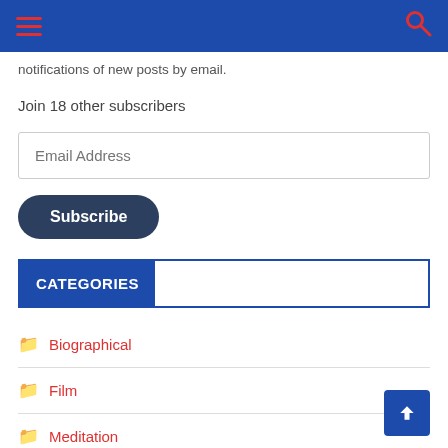Navigation bar with hamburger menu and search icon
notifications of new posts by email.
Join 18 other subscribers
Email Address
Subscribe
CATEGORIES
Biographical
Film
Meditation
Principles